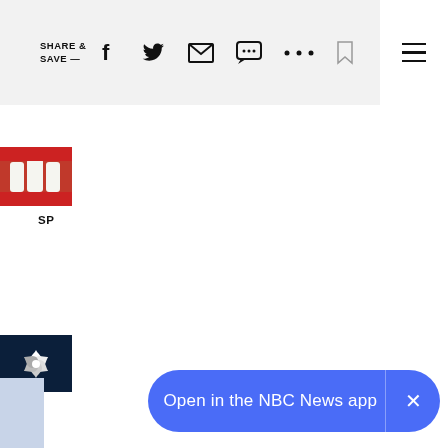SHARE & SAVE — [toolbar with social icons: Facebook, Twitter, Email, Chat, More, Bookmark, Hamburger menu]
[Figure (photo): Thumbnail image partially visible at left edge showing dental/teeth image in red]
SP
[Figure (logo): NBC News logo: white peacock feather icon on dark navy blue background]
[Figure (screenshot): Blue rounded rectangle call-to-action banner: 'Open in the NBC News app' with an X close button on the right]
[Figure (photo): Partial light blue/grey thumbnail image at bottom left corner]